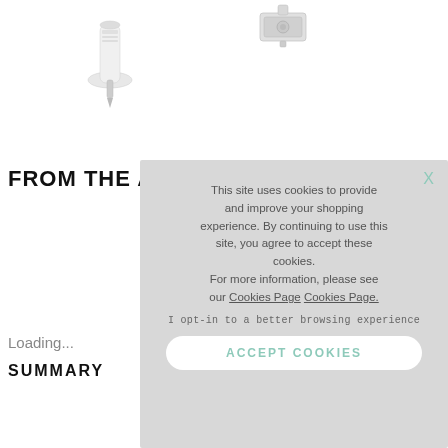[Figure (photo): Two product images visible at top: a white/silver elongated tool on the left, and a small metallic fastener/clip on the right, shown on white background]
FROM THE A
Loading...
SUMMARY
This site uses cookies to provide and improve your shopping experience. By continuing to use this site, you agree to accept these cookies.
For more information, please see our Cookies Page Cookies Page.
I opt-in to a better browsing experience
ACCEPT COOKIES